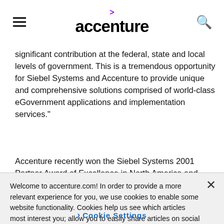accenture
significant contribution at the federal, state and local levels of government. This is a tremendous opportunity for Siebel Systems and Accenture to provide unique and comprehensive solutions comprised of world-class eGovernment applications and implementation services."
Accenture recently won the Siebel Systems 2001 Partner Award of Excellence in North America and
Welcome to accenture.com! In order to provide a more relevant experience for you, we use cookies to enable some website functionality. Cookies help us see which articles most interest you; allow you to easily share articles on social media; permit us to deliver content, jobs and ads tailored to your interests and locations; and provide many other site benefits. For more information, please review our Cookies Policy and Privacy Statement.
Cookie Settings